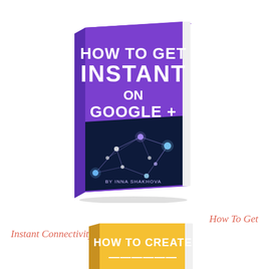[Figure (illustration): 3D book cover with purple background, title 'HOW TO GET INSTANT ON GOOGLE +', network/connectivity image on lower half, author 'BY INNA SHAKHOVA' at bottom]
How To Get
Instant Connectivity On Topic
[Figure (illustration): Partially visible 3D book cover with yellow/gold background, text 'HOW TO CREATE' visible at top]